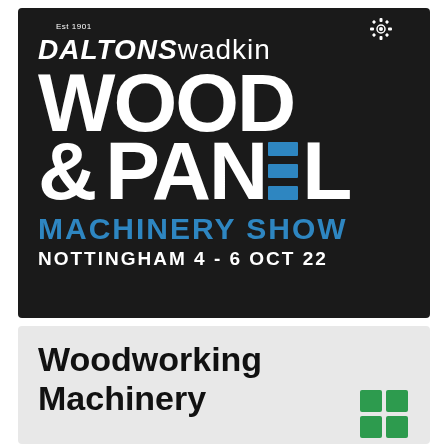[Figure (logo): Daltons Wadkin Wood & Panel Machinery Show banner. Dark/black background with white large text reading 'WOOD & PANEL' (E in PANEL replaced by blue horizontal bars), blue text 'MACHINERY SHOW', white text 'NOTTINGHAM 4 - 6 OCT 22'. Top left shows 'Est 1901' and 'DALTONSwadkin' brand with gear icon top right.]
[Figure (logo): Woodworking Machinery logo/banner on light gray background. Shows bold black text 'Woodworking Machinery' with a partial green logo icon visible at bottom right.]